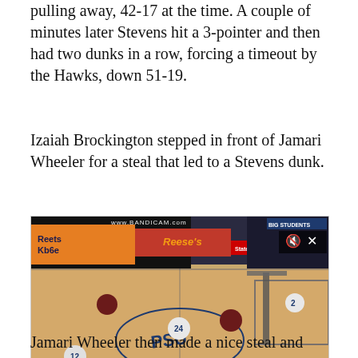pulling away, 42-17 at the time. A couple of minutes later Stevens hit a 3-pointer and then had two dunks in a row, forcing a timeout by the Hawks, down 51-19.
Izaiah Brockington stepped in front of Jamari Wheeler for a steal that led to a Stevens dunk.
[Figure (screenshot): Video screenshot of a basketball game showing players on a Penn State court. Bandicam watermark visible at top center. BIG STUDENTS logo at top right. Mute/close button at top right. Reese's and State Farm advertisements visible on scoreboard. Players wearing white (Penn State) and dark (opponent) uniforms. Jersey numbers 12, 24, and 2 visible.]
13.1K views  gfycat
Jamari Wheeler then made a nice steal and took the